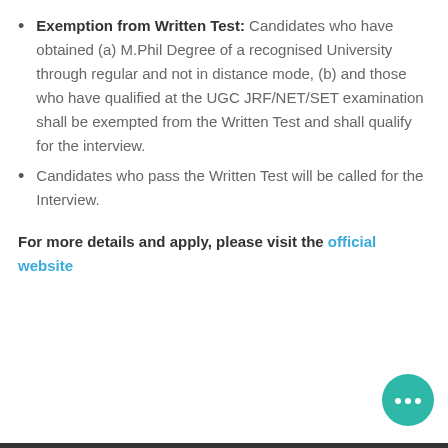Exemption from Written Test: Candidates who have obtained (a) M.Phil Degree of a recognised University through regular and not in distance mode, (b) and those who have qualified at the UGC JRF/NET/SET examination shall be exempted from the Written Test and shall qualify for the interview.
Candidates who pass the Written Test will be called for the Interview.
For more details and apply, please visit the official website